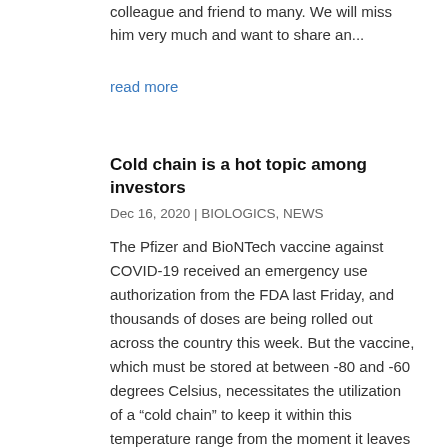colleague and friend to many. We will miss him very much and want to share an...
read more
Cold chain is a hot topic among investors
Dec 16, 2020 | BIOLOGICS, NEWS
The Pfizer and BioNTech vaccine against COVID-19 received an emergency use authorization from the FDA last Friday, and thousands of doses are being rolled out across the country this week. But the vaccine, which must be stored at between -80 and -60 degrees Celsius, necessitates the utilization of a “cold chain” to keep it within this temperature range from the moment it leaves the manufacturing site to just before it is administered to a patient.
read more